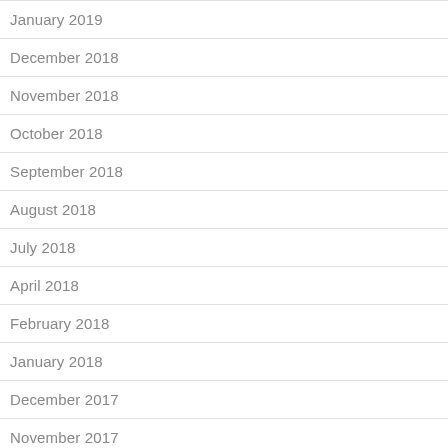January 2019
December 2018
November 2018
October 2018
September 2018
August 2018
July 2018
April 2018
February 2018
January 2018
December 2017
November 2017